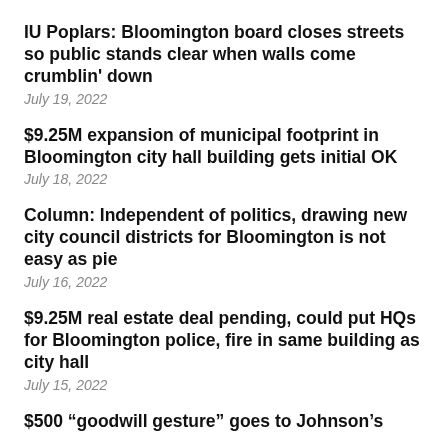IU Poplars: Bloomington board closes streets so public stands clear when walls come crumblin' down
July 19, 2022
$9.25M expansion of municipal footprint in Bloomington city hall building gets initial OK
July 18, 2022
Column: Independent of politics, drawing new city council districts for Bloomington is not easy as pie
July 16, 2022
$9.25M real estate deal pending, could put HQs for Bloomington police, fire in same building as city hall
July 15, 2022
$500 “goodwill gesture” goes to Johnson’s